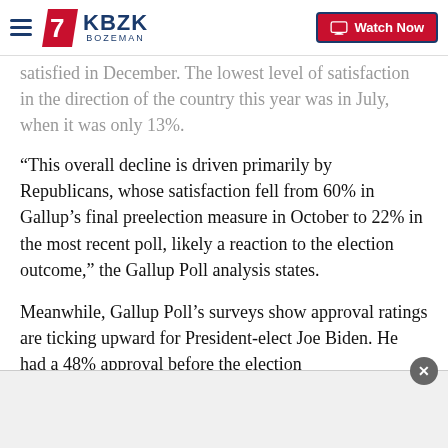KBZK BOZEMAN — Watch Now
satisfied in December. The lowest level of satisfaction in the direction of the country this year was in July, when it was only 13%.
“This overall decline is driven primarily by Republicans, whose satisfaction fell from 60% in Gallup’s final preelection measure in October to 22% in the most recent poll, likely a reaction to the election outcome,” the Gallup Poll analysis states.
Meanwhile, Gallup Poll’s surveys show approval ratings are ticking upward for President-elect Joe Biden. He had a 48% approval before the election